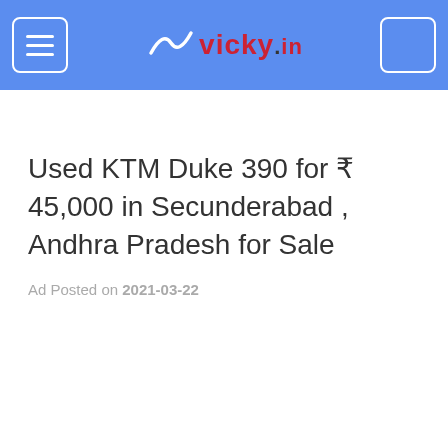vicky.in
Used KTM Duke 390 for ₹ 45,000 in Secunderabad , Andhra Pradesh for Sale
Ad Posted on 2021-03-22